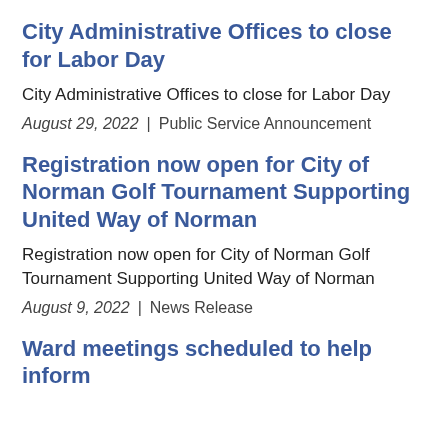City Administrative Offices to close for Labor Day
City Administrative Offices to close for Labor Day
August 29, 2022  |  Public Service Announcement
Registration now open for City of Norman Golf Tournament Supporting United Way of Norman
Registration now open for City of Norman Golf Tournament Supporting United Way of Norman
August 9, 2022  |  News Release
Ward meetings scheduled to help inform